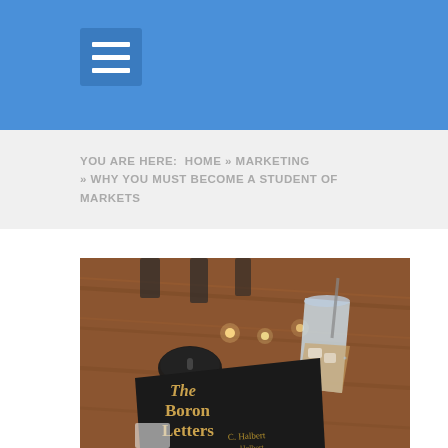YOU ARE HERE:  HOME » MARKETING » WHY YOU MUST BECOME A STUDENT OF MARKETS
[Figure (photo): A photo of 'The Boron Letters' book by C. Halbert lying on a wooden table next to a computer mouse and a plastic iced drink cup.]